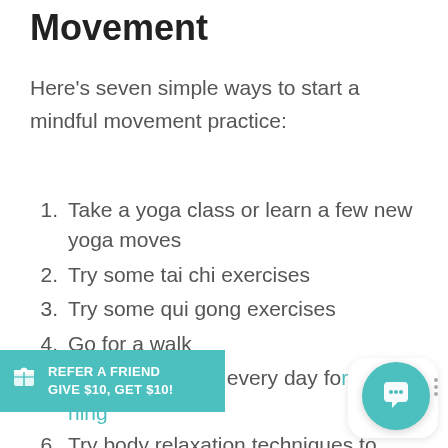Movement
Here's seven simple ways to start a mindful movement practice:
Take a yoga class or learn a few new yoga moves
Try some tai chi exercises
Try some qui gong exercises
Go for a walk
Take 10 minutes every day for [stretching]
Try body relaxation techniques to…